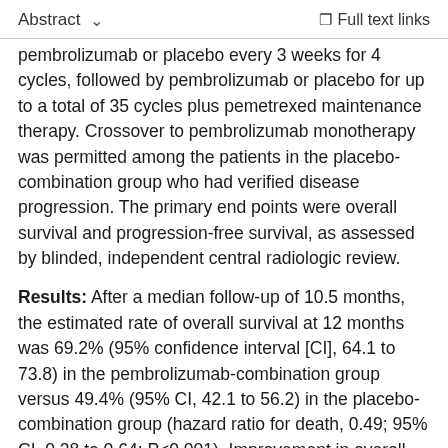Abstract   ˅   Full text links
pembrolizumab or placebo every 3 weeks for 4 cycles, followed by pembrolizumab or placebo for up to a total of 35 cycles plus pemetrexed maintenance therapy. Crossover to pembrolizumab monotherapy was permitted among the patients in the placebo-combination group who had verified disease progression. The primary end points were overall survival and progression-free survival, as assessed by blinded, independent central radiologic review.
Results: After a median follow-up of 10.5 months, the estimated rate of overall survival at 12 months was 69.2% (95% confidence interval [CI], 64.1 to 73.8) in the pembrolizumab-combination group versus 49.4% (95% CI, 42.1 to 56.2) in the placebo-combination group (hazard ratio for death, 0.49; 95% CI, 0.38 to 0.64; P<0.001). Improvement in overall survival was seen across all PD-L1 categories that were evaluated. Median